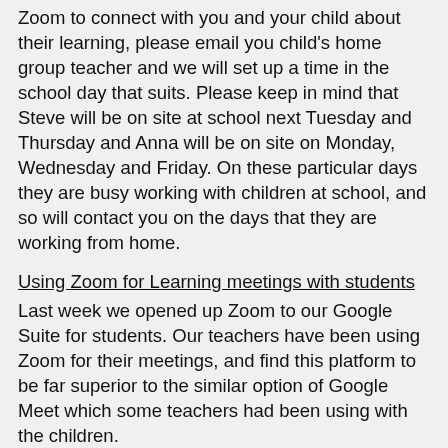Zoom to connect with you and your child about their learning, please email you child's home group teacher and we will set up a time in the school day that suits. Please keep in mind that Steve will be on site at school next Tuesday and Thursday and Anna will be on site on Monday, Wednesday and Friday. On these particular days they are busy working with children at school, and so will contact you on the days that they are working from home.
Using Zoom for Learning meetings with students
Last week we opened up Zoom to our Google Suite for students. Our teachers have been using Zoom for their meetings, and find this platform to be far superior to the similar option of Google Meet which some teachers had been using with the children.
Please be aware that your child's security is a top priority for us. To that end, we have the following procedures in place, and we ask you to monitor (as always) what your child is using their school account for at home.